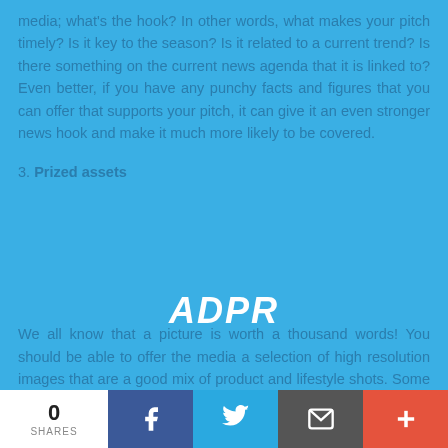media; what's the hook? In other words, what makes your pitch timely? Is it key to the season? Is it related to a current trend? Is there something on the current news agenda that it is linked to? Even better, if you have any punchy facts and figures that you can offer that supports your pitch, it can give it an even stronger news hook and make it much more likely to be covered.
3. Prized assets
[Figure (logo): ADPR logo in white italic bold text overlaid on blue background]
We all know that a picture is worth a thousand words! You should be able to offer the media a selection of high resolution images that are a good mix of product and lifestyle shots. Some media will want cut-out shots to lay out onto a page, some will want to see lifestyle images of the
0 SHARES | Facebook | Twitter | Email | +